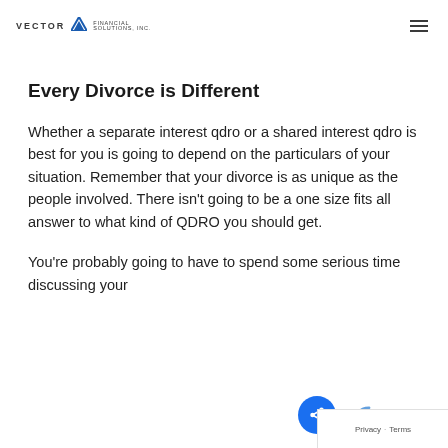VECTOR Financial Solutions, Inc.
Every Divorce is Different
Whether a separate interest qdro or a shared interest qdro is best for you is going to depend on the particulars of your situation. Remember that your divorce is as unique as the people involved. There isn't going to be a one size fits all answer to what kind of QDRO you should get.
You're probably going to have to spend some serious time discussing your